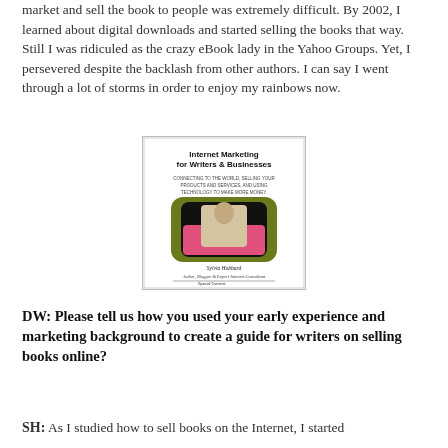market and sell the book to people was extremely difficult. By 2002, I learned about digital downloads and started selling the books that way. Still I was ridiculed as the crazy eBook lady in the Yahoo Groups. Yet, I persevered despite the backlash from other authors. I can say I went through a lot of storms in order to enjoy my rainbows now.
[Figure (illustration): Book cover of 'Internet Marketing for Writers & Businesses' by Sylvia Hubbard, Author, Blogger & Expert Internet Consultant. Subtitle: Connecting to the World, Selling Your Products and Services, and Using Technology to Make More Money. Special Content: E-Book Facts, Stats & Figures; HTML Tools; Mini Guide To Self Publishing.]
DW: Please tell us how you used your early experience and marketing background to create a guide for writers on selling books online?
SH: As I studied how to sell books on the Internet, I started